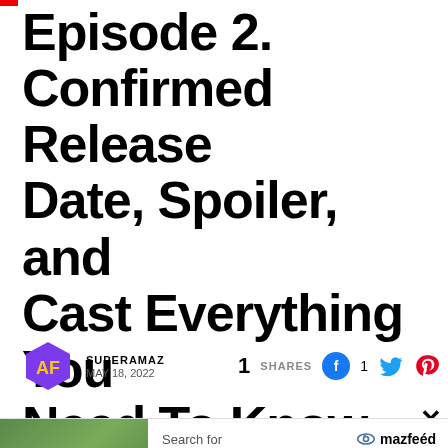Episode 2. Confirmed Release Date, Spoiler, and Cast Everything You Need To Know
SUPERAMAZ
MAY 18, 2022
1 SHARES
[Figure (screenshot): Advertisement banner showing 'Search for' with options: 1. FULL TV SHOW EPISODES, 2. WATCH ANIME EPISODES. Business Focus ad label at bottom.]